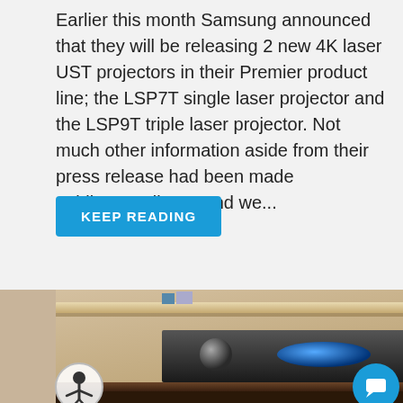Earlier this month Samsung announced that they will be releasing 2 new 4K laser UST projectors in their Premier product line; the LSP7T single laser projector and the LSP9T triple laser projector. Not much other information aside from their press release had been made public.....until now and we...
KEEP READING
[Figure (photo): Photo of a black AV receiver unit sitting on a wooden furniture piece against a stone/concrete wall backdrop with a wooden shelf above it. A partial view of an outdoor scene is visible at the right edge.]